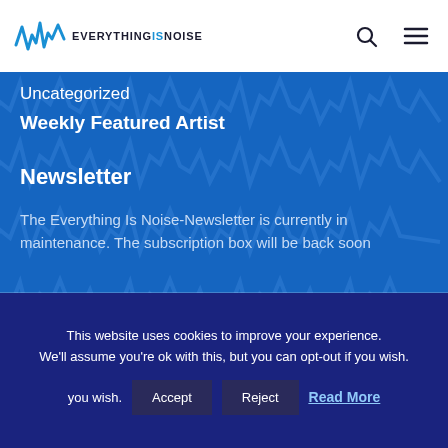EVERYTHING IS NOISE
Uncategorized
Weekly Featured Artist
Newsletter
The Everything Is Noise-Newsletter is currently in maintenance. The subscription box will be back soon
This website uses cookies to improve your experience. We'll assume you're ok with this, but you can opt-out if you wish. Accept Reject Read More